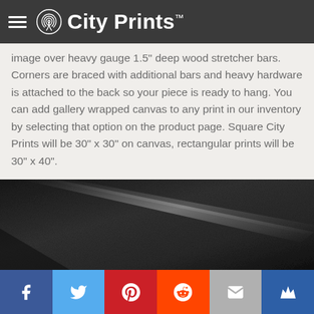City Prints™
image over heavy gauge 1.5" deep wood stretcher bars. Corners are braced with additional bars and heavy hardware is attached to the back so your piece is ready to hang. You can add gallery wrapped canvas to any print in our inventory by selecting that option on the product page. Square City Prints will be 30" x 30" on canvas, rectangular prints will be 30" x 40".
[Figure (photo): Close-up photo of dark grey canvas texture with a diagonal lighter streak/fold across the surface.]
Social sharing bar: Facebook, Twitter, Pinterest, Reddit, Email, Crown/Bookmark